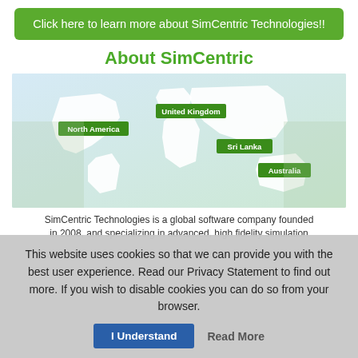Click here to learn more about SimCentric Technologies!!
About SimCentric
[Figure (map): World map with green location labels for North America, United Kingdom, Sri Lanka, and Australia]
SimCentric Technologies is a global software company founded in 2008, and specializing in advanced, high fidelity simulation
This website uses cookies so that we can provide you with the best user experience. Read our Privacy Statement to find out more. If you wish to disable cookies you can do so from your browser.
I Understand   Read More